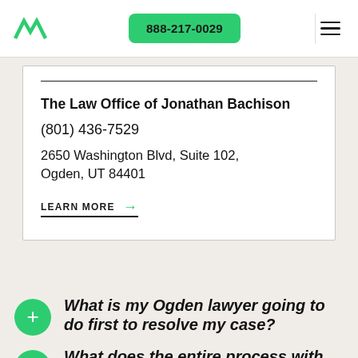888-217-0029
The Law Office of Jonathan Bachison
(801) 436-7529
2650 Washington Blvd, Suite 102, Ogden, UT 84401
LEARN MORE →
What is my Ogden lawyer going to do first to resolve my case?
What does the entire process with my